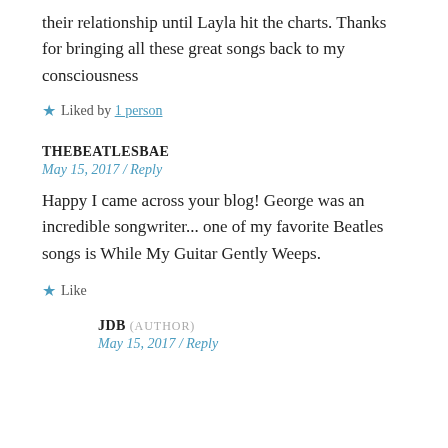their relationship until Layla hit the charts. Thanks for bringing all these great songs back to my consciousness
Liked by 1 person
THEBEATLESBAE
May 15, 2017 / Reply
Happy I came across your blog! George was an incredible songwriter... one of my favorite Beatles songs is While My Guitar Gently Weeps.
Like
JDB (AUTHOR)
May 15, 2017 / Reply